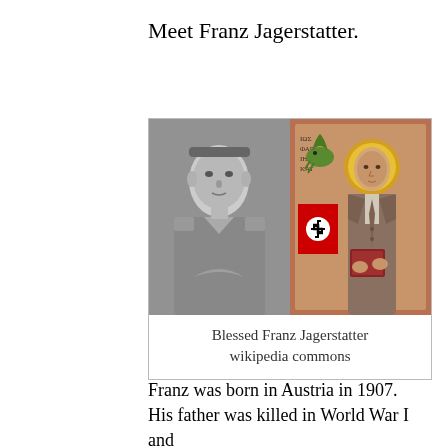Meet Franz Jagerstatter.
[Figure (photo): Two side-by-side images: left is a black-and-white photograph of Franz Jagerstatter in military uniform; right is a religious icon painting of Blessed Franz Jagerstatter holding a book with a halo and a Nazi flag visible in the background.]
Blessed Franz Jagerstatter wikipedia commons
Franz was born in Austria in 1907. His father was killed in World War I and